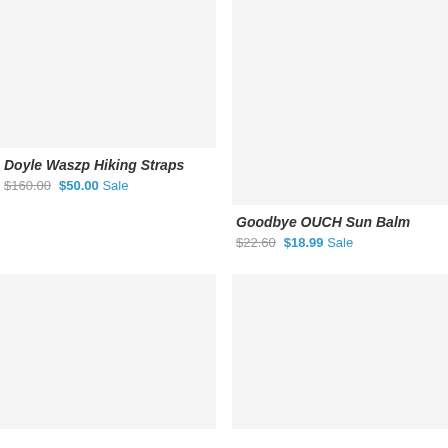[Figure (photo): Product image placeholder for Doyle Waszp Hiking Straps - light gray rectangle]
Doyle Waszp Hiking Straps
$160.00  $50.00 Sale
[Figure (photo): Product image placeholder for Goodbye OUCH Sun Balm - light gray rectangle, taller]
Goodbye OUCH Sun Balm
$22.60  $18.99 Sale
[Figure (photo): Product image placeholder - bottom left - light gray rectangle]
[Figure (photo): Product image placeholder - bottom right - light gray rectangle]